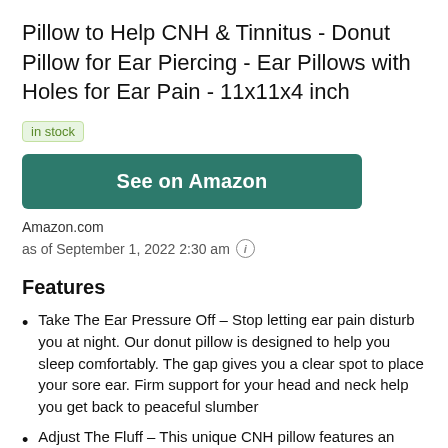Pillow to Help CNH & Tinnitus - Donut Pillow for Ear Piercing - Ear Pillows with Holes for Ear Pain - 11x11x4 inch
in stock
See on Amazon
Amazon.com
as of September 1, 2022 2:30 am
Features
Take The Ear Pressure Off – Stop letting ear pain disturb you at night. Our donut pillow is designed to help you sleep comfortably. The gap gives you a clear spot to place your sore ear. Firm support for your head and neck help you get back to peaceful slumber
Adjust The Fluff – This unique CNH pillow features an